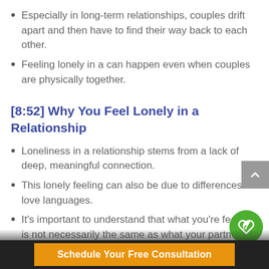Especially in long-term relationships, couples drift apart and then have to find their way back to each other.
Feeling lonely in a can happen even when couples are physically together.
[8:52] Why You Feel Lonely in a Relationship
Loneliness in a relationship stems from a lack of deep, meaningful connection.
This lonely feeling can also be due to differences in love languages.
It's important to understand that what you're feeling is not necessarily the same as what your partner is feeling — people have.
Schedule Your Free Consultation